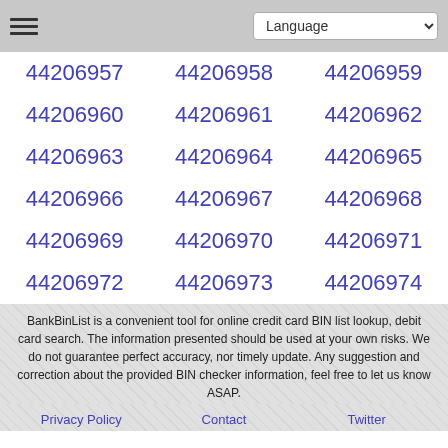Language
44206957
44206958
44206959
44206960
44206961
44206962
44206963
44206964
44206965
44206966
44206967
44206968
44206969
44206970
44206971
44206972
44206973
44206974
BankBinList is a convenient tool for online credit card BIN list lookup, debit card search. The information presented should be used at your own risks. We do not guarantee perfect accuracy, nor timely update. Any suggestion and correction about the provided BIN checker information, feel free to let us know ASAP.
Privacy Policy  Contact  Twitter